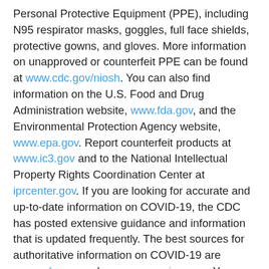Personal Protective Equipment (PPE), including N95 respirator masks, goggles, full face shields, protective gowns, and gloves. More information on unapproved or counterfeit PPE can be found at www.cdc.gov/niosh. You can also find information on the U.S. Food and Drug Administration website, www.fda.gov, and the Environmental Protection Agency website, www.epa.gov. Report counterfeit products at www.ic3.gov and to the National Intellectual Property Rights Coordination Center at iprcenter.gov. If you are looking for accurate and up-to-date information on COVID-19, the CDC has posted extensive guidance and information that is updated frequently. The best sources for authoritative information on COVID-19 are www.cdc.gov and www.coronavirus.gov. You may also consult your primary care physician for guidance.
The FBI is reminding you to always use good cyber